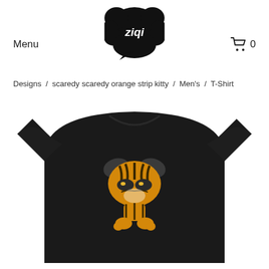Menu
[Figure (logo): ziqi logo in a black speech bubble shape with white text]
[Figure (other): Shopping cart icon with number 0]
Designs  /  scaredy scaredy orange strip kitty  /  Men's  /  T-Shirt
[Figure (photo): Black men's t-shirt featuring a cartoon orange striped cat (scaredy scaredy orange strip kitty) graphic on the chest. The cat character has dark floppy ears, orange and black stripes, grumpy half-closed eyes, and paws raised up.]